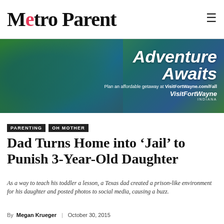Metro Parent
[Figure (photo): Aerial view of kayakers on a river surrounded by green trees, with Adventure Awaits advertisement for VisitFortWayne.com/Fall]
PARENTING
OH MOTHER
Dad Turns Home into ‘Jail’ to Punish 3-Year-Old Daughter
As a way to teach his toddler a lesson, a Texas dad created a prison-like environment for his daughter and posted photos to social media, causing a buzz.
By Megan Krueger | October 30, 2015